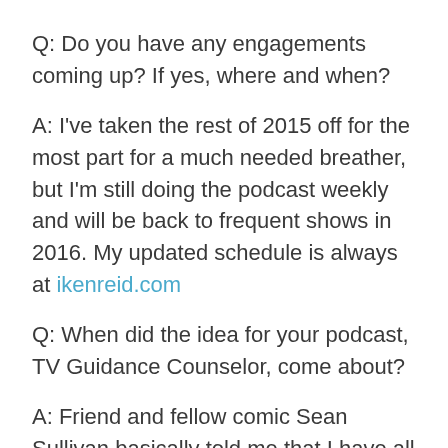Q:    Do you have any engagements coming up? If yes, where and when?
A:    I've taken the rest of 2015 off for the most part for a much needed breather, but I'm still doing the podcast weekly and will be back to frequent shows in 2016. My updated schedule is always at ikenreid.com
Q:    When did the idea for your podcast, TV Guidance Counselor, come about?
A:    Friend and fellow comic Sean Sullivan basically told me that I have all these TV Guides, when people come over my house we often will flip through them and discuss old shows, why not just do that as a podcast? I wanted to do a podcast for a long time but didn't have a great idea that would be different from the usual two comics just